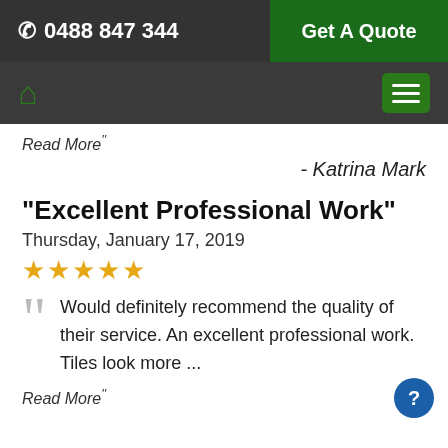☎ 0488 847 344 | Get A Quote
Read More"
- Katrina Mark
"Excellent Professional Work"
Thursday, January 17, 2019
★★★★★
Would definitely recommend the quality of their service. An excellent professional work. Tiles look more ...
Read More"